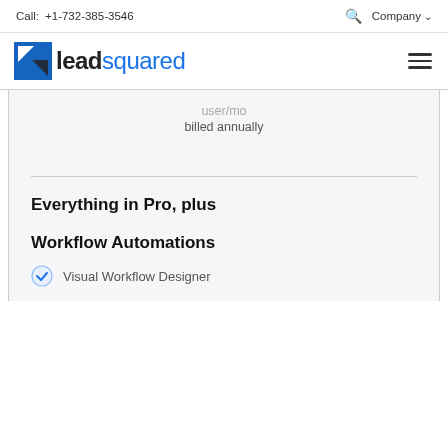Call: +1-732-385-3546  Company
[Figure (logo): LeadSquared logo with blue square icon and blue text]
user/mo
billed annually
Everything in Pro, plus
Workflow Automations
Visual Workflow Designer